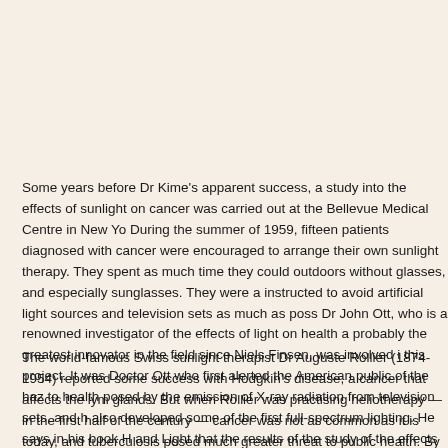Some years before Dr Kime's apparent success, a study into the effects of sunlight on cancer was carried out at the Bellevue Medical Centre in New York. During the summer of 1959, fifteen patients diagnosed with cancer were encouraged to arrange their own sunlight therapy. They spent as much time as they could outdoors without glasses, and especially sunglasses. They were also instructed to avoid artificial light sources and television sets as much as possible. Dr John Ott, who is a renowned investigator of the effects of light on health and probably the greatest innovator in the field since Niels Finsen, was involved in this project. It was Doctor Ott who first alerted the American public of the hazard to health posed by the emission of X-ray radiation from television sets, and he also developed some of the first full-spectrum lighting. He says in his book Health and Light that the results of the study of the effects of sunlight on cancer patients were sufficiently positive to justify a more detailed programme of research, but that support was not forthcoming.
The world-famous Swiss sunlight therapist Dr Auguste Rollier (1874-1954) reported some success with Hodgkin's disease, a cancer that affects the lymph glands. But when Rollier was practising heliotherapy — in the first half of the century — cancer was not as common as it is today, and tuberculosis posed a much greater threat to public health. By the time cancer became a major health problem, radiation therapy had virtually replaced heliotherapy as the standard treatment.